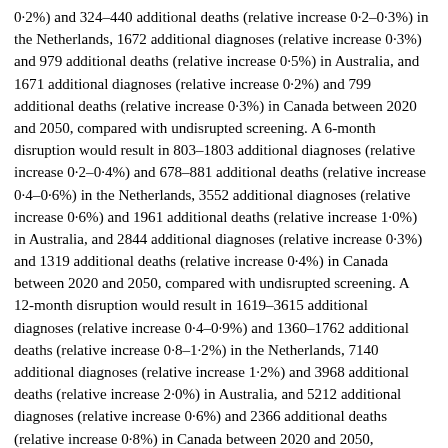0·2%) and 324–440 additional deaths (relative increase 0·2–0·3%) in the Netherlands, 1672 additional diagnoses (relative increase 0·3%) and 979 additional deaths (relative increase 0·5%) in Australia, and 1671 additional diagnoses (relative increase 0·2%) and 799 additional deaths (relative increase 0·3%) in Canada between 2020 and 2050, compared with undisrupted screening. A 6-month disruption would result in 803–1803 additional diagnoses (relative increase 0·2–0·4%) and 678–881 additional deaths (relative increase 0·4–0·6%) in the Netherlands, 3552 additional diagnoses (relative increase 0·6%) and 1961 additional deaths (relative increase 1·0%) in Australia, and 2844 additional diagnoses (relative increase 0·3%) and 1319 additional deaths (relative increase 0·4%) in Canada between 2020 and 2050, compared with undisrupted screening. A 12-month disruption would result in 1619–3615 additional diagnoses (relative increase 0·4–0·9%) and 1360–1762 additional deaths (relative increase 0·8–1·2%) in the Netherlands, 7140 additional diagnoses (relative increase 1·2%) and 3968 additional deaths (relative increase 2·0%) in Australia, and 5212 additional diagnoses (relative increase 0·6%) and 2366 additional deaths (relative increase 0·8%) in Canada between 2020 and 2050, compared with undisrupted screening. Providing immediate catch-up screening could minimise the impact of the disruption, restricting the relative increase in colorectal cancer incidence and deaths